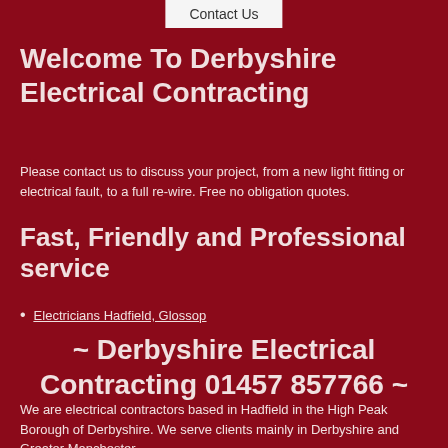Contact Us
Welcome To Derbyshire Electrical Contracting
Please contact us to discuss your project, from a new light fitting or electrical fault, to a full re-wire. Free no obligation quotes.
Fast, Friendly and Professional service
Electricians Hadfield, Glossop
~ Derbyshire Electrical Contracting 01457 857766 ~
We are electrical contractors based in Hadfield in the High Peak Borough of Derbyshire. We serve clients mainly in Derbyshire and Greater Manchester.